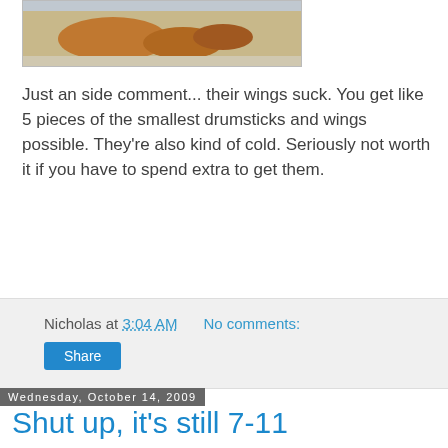[Figure (photo): Photo of chicken wings/drumsticks on a tray, partially visible at top of page]
Just an side comment... their wings suck. You get like 5 pieces of the smallest drumsticks and wings possible. They're also kind of cold. Seriously not worth it if you have to spend extra to get them.
Nicholas at 3:04 AM   No comments:
Share
Wednesday, October 14, 2009
Shut up, it's still 7-11
[Figure (photo): Photo of a packaged chicken product with Chinese characters 香雞排 and a cartoon chicken logo on the packaging]
So I've finally come back to this post. I should be studying for 'Biochemical Separations,' but that doesn't seem too important at this very second... it's not until Wednesday